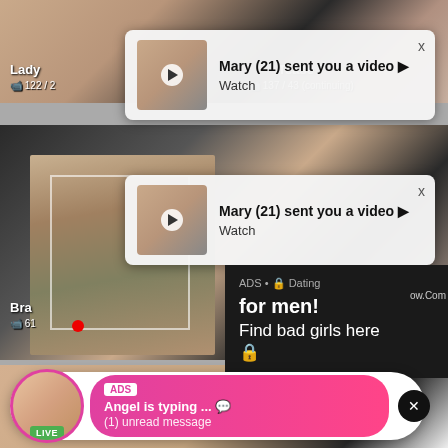[Figure (screenshot): Background grid of blurred adult content thumbnails with labels Lady and Tease visible]
Lady
📹 122 / ...
Tease
📹 137 / ... (continuing text)
[Figure (screenshot): First notification popup: Mary (21) sent you a video ▶ Watch]
Mary (21) sent you a video ▶
Watch
[Figure (screenshot): Second notification popup: Mary (21) sent you a video ▶ Watch]
Mary (21) sent you a video ▶
Watch
[Figure (screenshot): Mirror selfie of woman taking photo]
[Figure (screenshot): Dark ad banner: ADS • Dating for men! Find bad girls here]
ADS • 🔒 Dating for men! Find bad girls here 🔒
[Figure (screenshot): Live chat popup: ADS Angel is typing ... 💬 (1) unread message]
ADS
Angel is typing ... 💬
(1) unread message
Bra
📹 61...